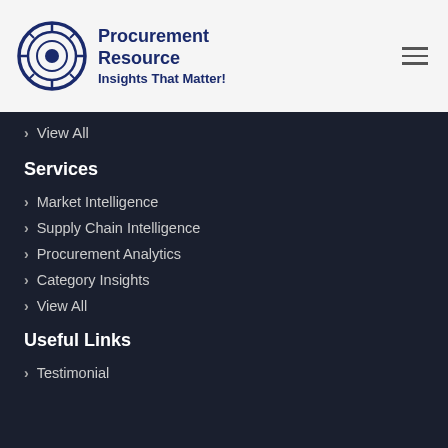Procurement Resource — Insights That Matter!
View All
Services
Market Intelligence
Supply Chain Intelligence
Procurement Analytics
Category Insights
View All
Useful Links
Testimonial